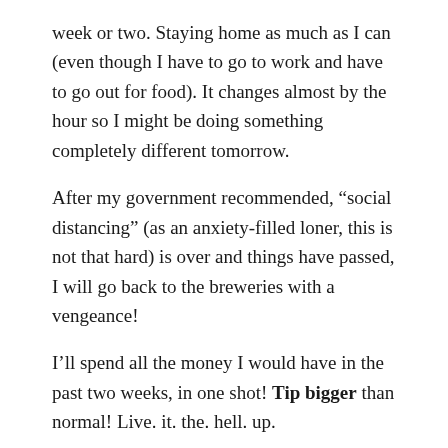week or two. Staying home as much as I can (even though I have to go to work and have to go out for food). It changes almost by the hour so I might be doing something completely different tomorrow.
After my government recommended, “social distancing” (as an anxiety-filled loner, this is not that hard) is over and things have passed, I will go back to the breweries with a vengeance!
I’ll spend all the money I would have in the past two weeks, in one shot! Tip bigger than normal! Live. it. the. hell. up.
At this moment, the prevailing thought on Beer Twitter is to get out there and support right the hell now.